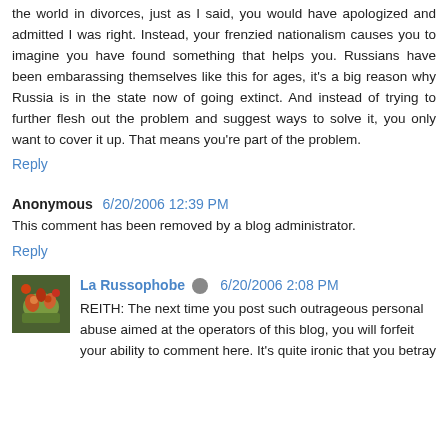the world in divorces, just as I said, you would have apologized and admitted I was right. Instead, your frenzied nationalism causes you to imagine you have found something that helps you. Russians have been embarassing themselves like this for ages, it's a big reason why Russia is in the state now of going extinct. And instead of trying to further flesh out the problem and suggest ways to solve it, you only want to cover it up. That means you're part of the problem.
Reply
Anonymous 6/20/2006 12:39 PM
This comment has been removed by a blog administrator.
Reply
La Russophobe 6/20/2006 2:08 PM
REITH: The next time you post such outrageous personal abuse aimed at the operators of this blog, you will forfeit your ability to comment here. It's quite ironic that you betray